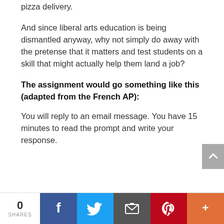pizza delivery.
And since liberal arts education is being dismantled anyway, why not simply do away with the pretense that it matters and test students on a skill that might actually help them land a job?
The assignment would go something like this (adapted from the French AP):
You will reply to an email message. You have 15 minutes to read the prompt and write your response.
0 SHARES | Facebook | Twitter | Email | Pinterest | More